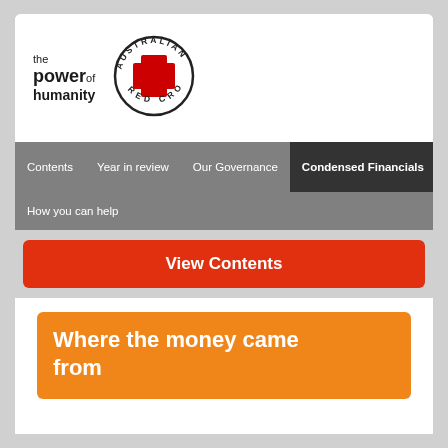[Figure (logo): Australian Red Cross logo with 'the power of humanity' tagline and circular badge with red cross]
Contents   Year in review   Our Governance   Condensed Financials   How you can help
View Contents
Where the money came from